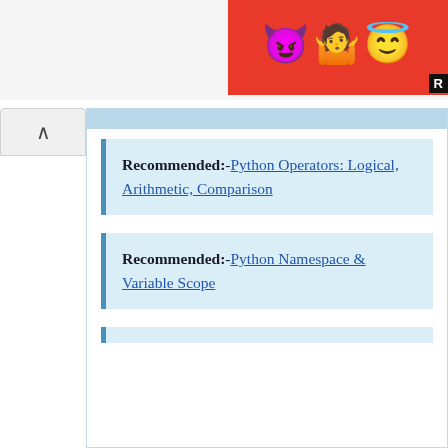[Figure (screenshot): Advertisement banner with emoji characters (devil, woman, angel) on red background with partial 'R' label visible]
Recommended:-Python Operators: Logical, Arithmetic, Comparison
Recommended:-Python Namespace & Variable Scope